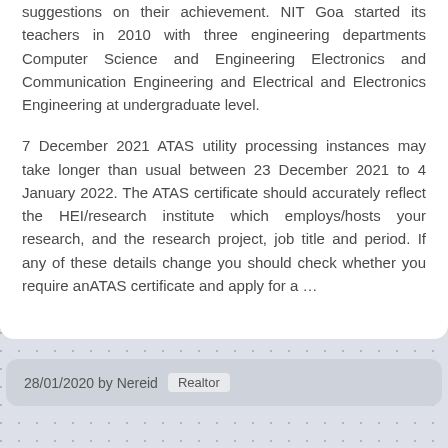suggestions on their achievement. NIT Goa started its teachers in 2010 with three engineering departments Computer Science and Engineering Electronics and Communication Engineering and Electrical and Electronics Engineering at undergraduate level.

7 December 2021 ATAS utility processing instances may take longer than usual between 23 December 2021 to 4 January 2022. The ATAS certificate should accurately reflect the HEI/research institute which employs/hosts your research, and the research project, job title and period. If any of these details change you should check whether you require anATAS certificate and apply for a …
28/01/2020 by Nereid  Realtor